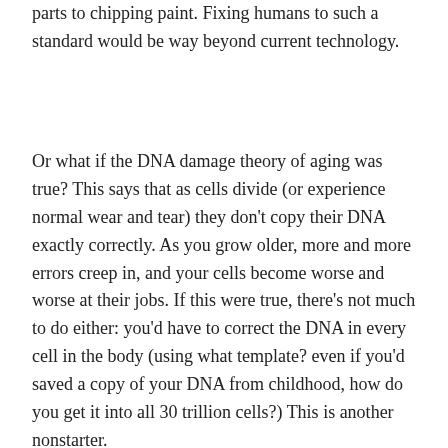parts to chipping paint. Fixing humans to such a standard would be way beyond current technology.
Or what if the DNA damage theory of aging was true? This says that as cells divide (or experience normal wear and tear) they don't copy their DNA exactly correctly. As you grow older, more and more errors creep in, and your cells become worse and worse at their jobs. If this were true, there's not much to do either: you'd have to correct the DNA in every cell in the body (using what template? even if you'd saved a copy of your DNA from childhood, how do you get it into all 30 trillion cells?) This is another nonstarter.